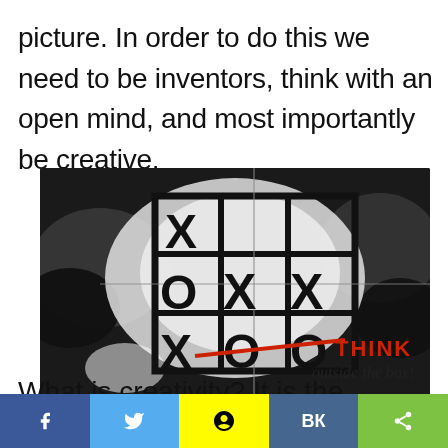picture. In order to do this we need to be inventors, think with an open mind, and most importantly be creative.
[Figure (illustration): A tic-tac-toe board with X and O pieces, showing a crossed-out move in red. Text reads 'THINK outside the box!' in red and black script on a black and white smoky background.]
What is creativity? It is the essence of
f  [twitter bird]  [snapchat ghost]  VK  [share icon]